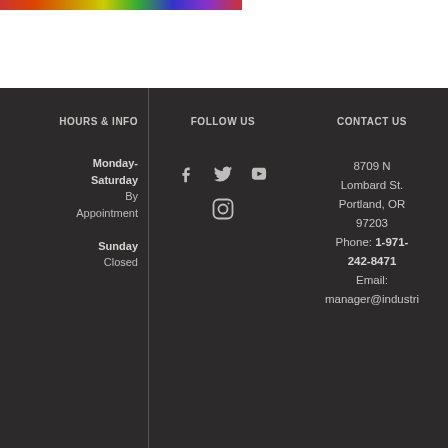[Figure (photo): Partial image of colorful markers/pens at the top of the page]
HOURS & INFO
Monday-Saturday By Appointment Sunday Closed
FOLLOW US
[Figure (illustration): Social media icons: Facebook, Twitter, YouTube, Instagram]
CONTACT US
8709 N Lombard St. Portland, OR 97203 Phone: 1-971-242-8471 Email: manager@industri...